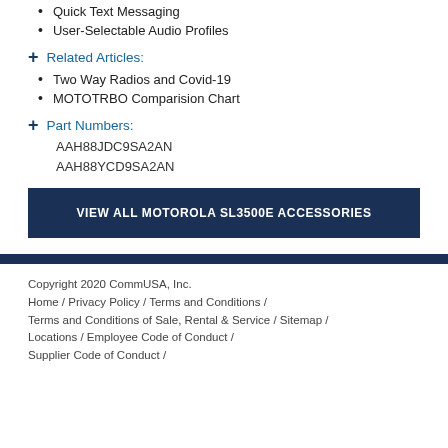Quick Text Messaging
User-Selectable Audio Profiles
Related Articles:
Two Way Radios and Covid-19
MOTOTRBO Comparision Chart
Part Numbers:
AAH88JDC9SA2AN
AAH88YCD9SA2AN
VIEW ALL MOTOROLA SL3500E ACCESSORIES
Copyright 2020 CommUSA, Inc. Home / Privacy Policy / Terms and Conditions / Terms and Conditions of Sale, Rental & Service / Sitemap / Locations / Employee Code of Conduct / Supplier Code of Conduct /